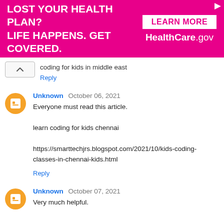[Figure (other): Advertisement banner with pink background. Text: 'LOST YOUR HEALTH PLAN? LIFE HAPPENS. GET COVERED.' with 'LEARN MORE HealthCare.gov' button on the right.]
coding for kids in middle east
Reply
Unknown  October 06, 2021
Everyone must read this article.

learn coding for kids chennai

https://smarttechjrs.blogspot.com/2021/10/kids-coding-classes-in-chennai-kids.html
Reply
Unknown  October 07, 2021
Very much helpful.